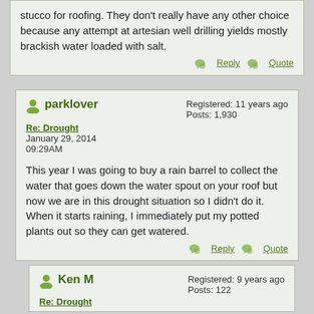stucco for roofing. They don't really have any other choice because any attempt at artesian well drilling yields mostly brackish water loaded with salt.
Reply   Quote
parklover
Re: Drought
January 29, 2014
09:29AM
Registered: 11 years ago
Posts: 1,930
This year I was going to buy a rain barrel to collect the water that goes down the water spout on your roof but now we are in this drought situation so I didn't do it. When it starts raining, I immediately put my potted plants out so they can get watered.
Reply   Quote
Ken M
Re: Drought
Registered: 9 years ago
Posts: 122